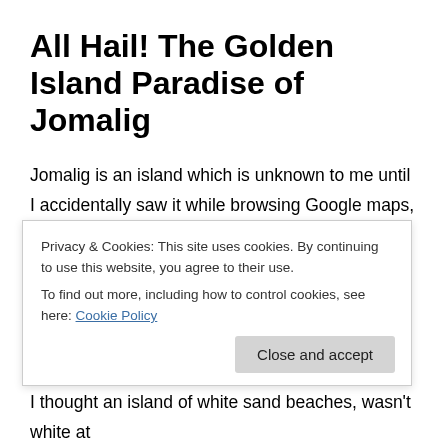All Hail! The Golden Island Paradise of Jomalig
Jomalig is an island which is unknown to me until I accidentally saw it while browsing Google maps, in search for a nearby island/beach from Manila. It caught my attention because of visibly white sand and blue waters from satellite view and because it’s also near Balesin Island, which is until now is just a dream since it’s exclusive to members. After a few search, only then I
Privacy & Cookies: This site uses cookies. By continuing to use this website, you agree to their use.
To find out more, including how to control cookies, see here: Cookie Policy
I thought an island of white sand beaches, wasn’t white at